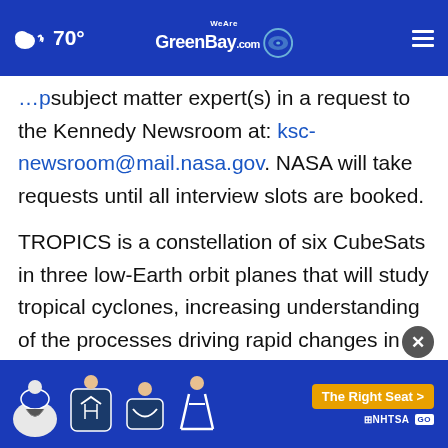70° WeAreGreenBay.com
subject matter expert(s) in a request to the Kennedy Newsroom at: ksc-newsroom@mail.nasa.gov. NASA will take requests until all interview slots are booked.
TROPICS is a constellation of six CubeSats in three low-Earth orbit planes that will study tropical cyclones, increasing understanding of the processes driving rapid changes in storm structure and intensity. TROPICS has the potential...ons
[Figure (advertisement): NHTSA car seat safety advertisement with The Right Seat button and safety icons on blue background]